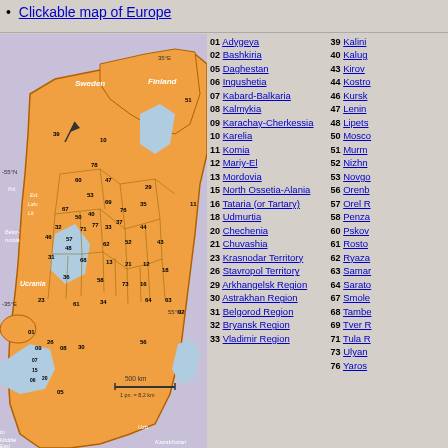Clickable map of Europe
[Figure (map): Clickable map of Russia showing numbered regions/oblasts in orange, surrounding countries in purple, water bodies in blue. Includes coordinate labels (35°E, -55°N, -35°E, 55°N), neighboring country labels (Sweden, Finland, Bielorussia, Ucrania, Kazakhstan, Uzb.), scale bar (500 km, 1 px. = 8,2 km), compass arrow, and numbered region markers.]
| Num | Name | Num | Name |
| --- | --- | --- | --- |
| 01 | Adygeya | 39 | Kalini |
| 02 | Bashkiria | 40 | Kalug |
| 05 | Daghestan | 43 | Kirov |
| 06 | Ingushetia | 44 | Kostro |
| 07 | Kabard-Balkaria | 46 | Kursk |
| 08 | Kalmykia | 47 | Lenin |
| 09 | Karachay-Cherkessia | 48 | Lipets |
| 10 | Karelia | 50 | Mosco |
| 11 | Komia | 51 | Murm |
| 12 | Mariy-El | 52 | Nizhn |
| 13 | Mordovia | 53 | Novgo |
| 15 | North Ossetia-Alania | 56 | Orenb |
| 16 | Tataria (or Tartary) | 57 | Orel R |
| 18 | Udmurtia | 58 | Penza |
| 20 | Chechenia | 60 | Pskov |
| 21 | Chuvashia | 61 | Rosto |
| 23 | Krasnodar Territory | 62 | Ryaza |
| 26 | Stavropol Territory | 63 | Samar |
| 29 | Arkhangelsk Region | 64 | Sarato |
| 30 | Astrakhan Region | 67 | Smole |
| 31 | Belgorod Region | 68 | Tambe |
| 32 | Bryansk Region | 69 | Tver R |
| 33 | Vladimir Region | 71 | Tula R |
|  |  | 73 | Ulyan |
|  |  | 76 | Yaros |